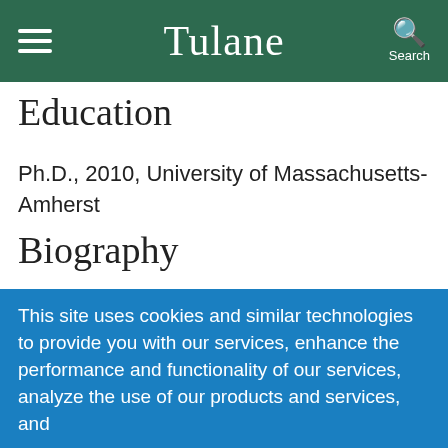Tulane
Education
Ph.D., 2010, University of Massachusetts-Amherst
Biography
Dr. Baker is interested in better understanding and facilitating the translation of effective prevention and intervention programs into
This site uses cookies and similar technologies to provide you with our services, enhance the performance and functionality of our services, analyze the use of our products and services, and